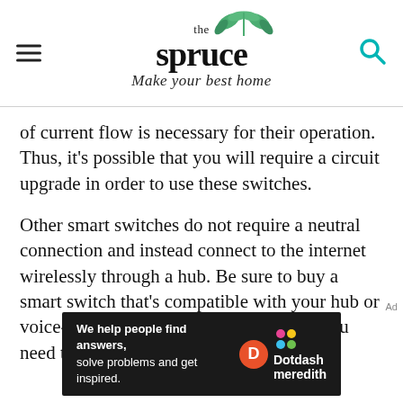the spruce — Make your best home
of current flow is necessary for their operation. Thus, it's possible that you will require a circuit upgrade in order to use these switches.
Other smart switches do not require a neutral connection and instead connect to the internet wirelessly through a hub. Be sure to buy a smart switch that's compatible with your hub or voice-automation system and the lights you need to control.
[Figure (logo): Dotdash Meredith advertisement banner: 'We help people find answers, solve problems and get inspired.' with Dotdash Meredith logo]